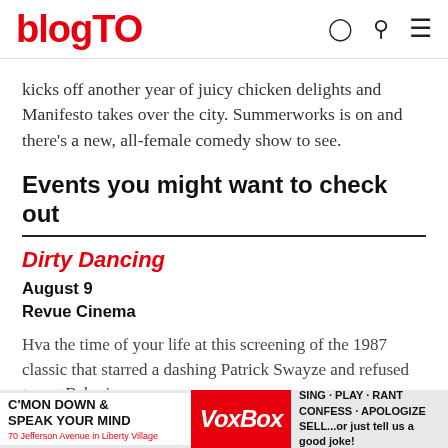blogTO
kicks off another year of juicy chicken delights and Manifesto takes over the city. Summerworks is on and there's a new, all-female comedy show to see.
Events you might want to check out
Dirty Dancing
August 9
Revue Cinema
Hva the time of your life at this screening of the 1987 classic that starred a dashing Patrick Swayze and refused to put Baby in corner.
[Figure (other): VoxBox advertisement banner: C'MON DOWN & SPEAK YOUR MIND, VoxBox logo, SING · PLAY · RANT CONFESS · APOLOGIZE SELL...or just tell us a good joke!, 70 Jefferson Avenue in Liberty Village]